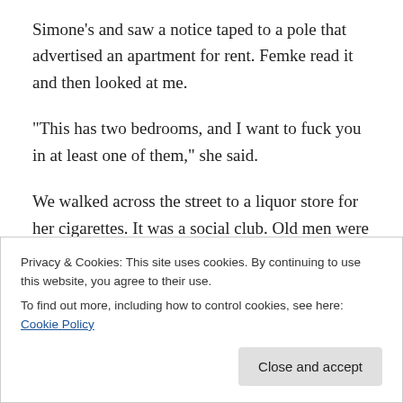Simone's and saw a notice taped to a pole that advertised an apartment for rent. Femke read it and then looked at me.
“This has two bedrooms, and I want to fuck you in at least one of them,” she said.
We walked across the street to a liquor store for her cigarettes. It was a social club. Old men were sitting in chairs along the sides of the aisle. I think there was a bar in the back, but I wasn’t sure. I tried to take a peak but the
Privacy & Cookies: This site uses cookies. By continuing to use this website, you agree to their use.
To find out more, including how to control cookies, see here: Cookie Policy